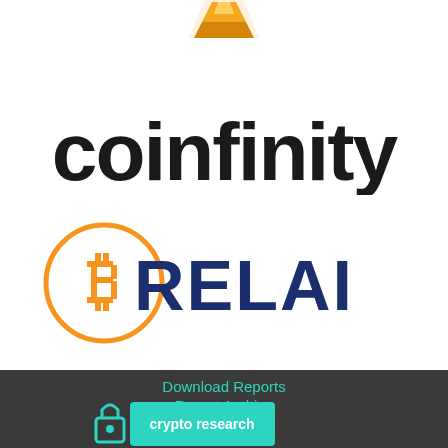[Figure (logo): Partial yellow/gold geometric logo at top center (partially cropped)]
[Figure (logo): Coinfinity logo in large bold black lowercase text]
[Figure (logo): Relai logo: orange circle with Bitcoin R symbol plus RELAI text in dark navy]
Download Reports
Report Archive
Glossary
[Figure (logo): Crypto Research logo: teal padlock icon and teal rectangle with crypto research text, partially cropped at bottom]